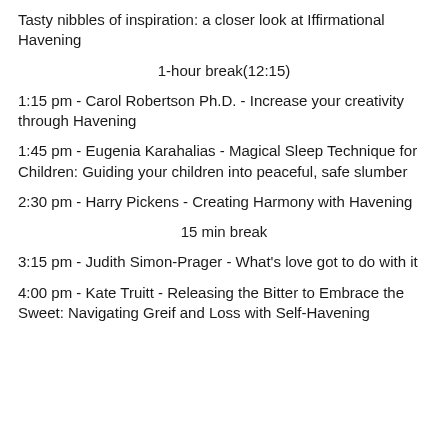Tasty nibbles of inspiration: a closer look at Iffirmational Havening
1-hour break(12:15)
1:15 pm - Carol Robertson Ph.D. - Increase your creativity through Havening
1:45 pm - Eugenia Karahalias - Magical Sleep Technique for Children: Guiding your children into peaceful, safe slumber
2:30 pm - Harry Pickens - Creating Harmony with Havening
15 min break
3:15 pm - Judith Simon-Prager - What's love got to do with it
4:00 pm - Kate Truitt - Releasing the Bitter to Embrace the Sweet: Navigating Greif and Loss with Self-Havening